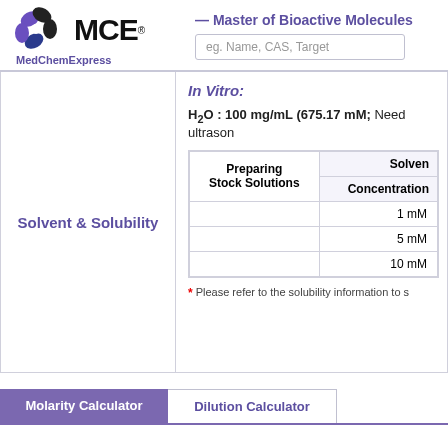[Figure (logo): MCE MedChemExpress logo with purple hexagonal flower icon and bold MCE text]
— Master of Bioactive Molecules
eg. Name, CAS, Target
Solvent & Solubility
In Vitro:
H2O : 100 mg/mL (675.17 mM; Need ultrason
| Preparing Stock Solutions | Solven | Concentration |
| --- | --- | --- |
|  | Concentration |  |
| Preparing
Stock Solutions | 1 mM |  |
|  | 5 mM |  |
|  | 10 mM |  |
* Please refer to the solubility information to s
Molarity Calculator
Dilution Calculator